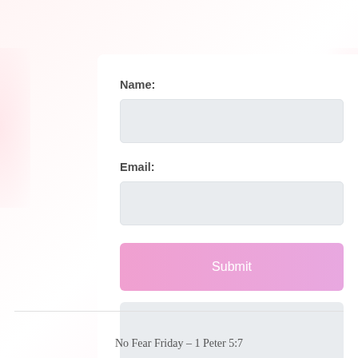Name:
[Figure (other): Text input field for Name (empty, light gray background)]
Email:
[Figure (other): Text input field for Email (empty, light gray background)]
[Figure (other): Submit button with pink/lavender gradient background and white 'Submit' text]
[Figure (other): Result/output box (empty, light gray background)]
No Fear Friday – 1 Peter 5:7